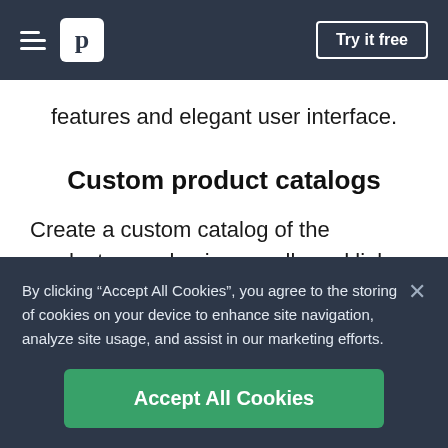p | Try it free
features and elegant user interface.
Custom product catalogs
Create a custom catalog of the products your business sells and link them to deals in your
By clicking “Accept All Cookies”, you agree to the storing of cookies on your device to enhance site navigation, analyze site usage, and assist in our marketing efforts.
Accept All Cookies